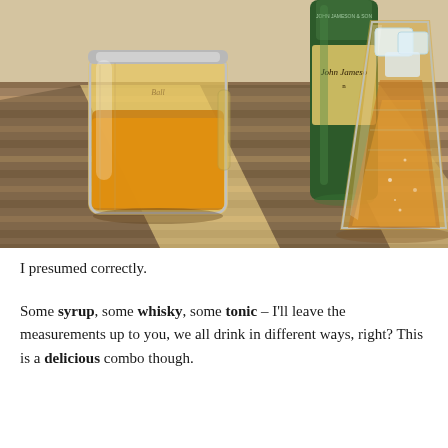[Figure (photo): Photo of drinks on a wooden slatted outdoor table in sunlight. On the left is a mason jar with amber liquid (whisky/syrup mix). In the center-back is a dark green bottle with a label reading 'John Jameson'. On the right is a large stemless glass filled with ice and an amber fizzy drink (whisky tonic). Strong sunlight creates geometric shadow patterns on the wooden table.]
I presumed correctly.
Some syrup, some whisky, some tonic – I'll leave the measurements up to you, we all drink in different ways, right? This is a delicious combo though.